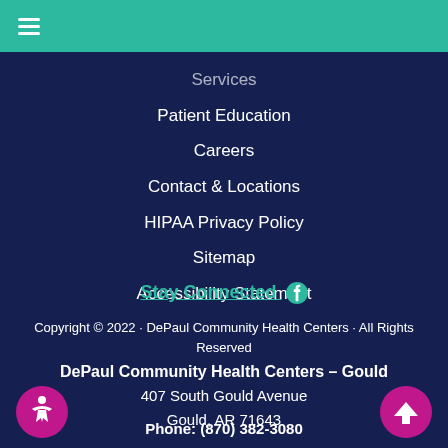≡ (hamburger menu)
Services
Patient Education
Careers
Contact & Locations
HIPAA Privacy Policy
Sitemap
Accessibility Statement
Stay Connected
Copyright © 2022 · DePaul Community Health Centers · All Rights Reserved
DePaul Community Health Centers – Gould
407 South Gould Avenue
Gould, AR 71643
Phone: (870) 382-3080